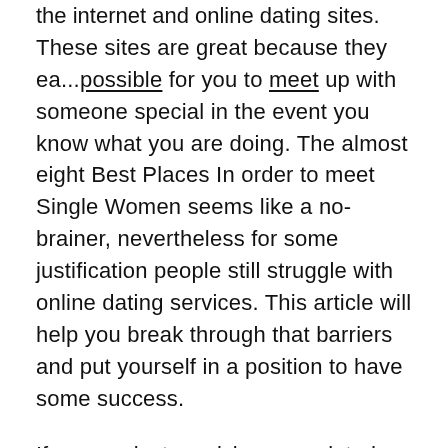the internet and online dating sites. These sites are great because they ea... possible for you to meet up with someone special in the event you know what you are doing. The almost eight Best Places In order to meet Single Women seems like a no-brainer, nevertheless for some justification people still struggle with online dating services. This article will help you break through that barriers and put yourself in a position to have some success.
If you are just receiving acquainted with the dating arena, here are some with the top locations to meet solitary women: 2. Join a well known dating site – Really pretty noticeable why you should join a popular dating website. A lot more people you will discover, the better your odds are to meet a female who is seriously into going out with and incorporates a high possibility penalized interested in starting a relationship. Joining popular online dating sites also means you're able to access a big database of public. This means you can